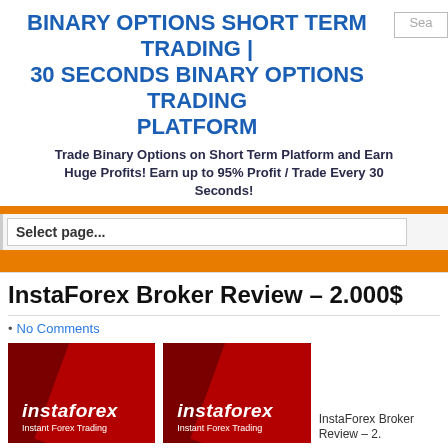BINARY OPTIONS SHORT TERM TRADING | 30 SECONDS BINARY OPTIONS TRADING PLATFORM
Trade Binary Options on Short Term Platform and Earn Huge Profits! Earn up to 95% Profit / Trade Every 30 Seconds!
Select page...
InstaForex Broker Review – 2.000$
• No Comments
[Figure (logo): InstaForex logo banner with red background and diagonal stripe, text: instaforex Instant Forex Trading]
[Figure (logo): InstaForex logo banner with red background and diagonal stripe, text: instaforex Instant Forex Trading]
InstaForex Broker Review – 2.
Interested in binary options trading, but thinking about maybe doing Forex t